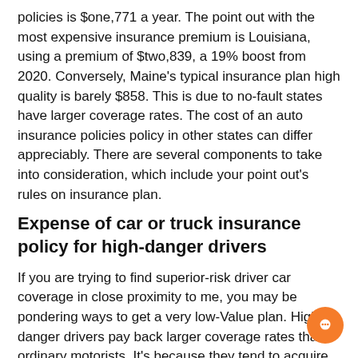policies is $one,771 a year. The point out with the most expensive insurance premium is Louisiana, using a premium of $two,839, a 19% boost from 2020. Conversely, Maine's typical insurance plan high quality is barely $858. This is due to no-fault states have larger coverage rates. The cost of an auto insurance policies policy in other states can differ appreciably. There are several components to take into consideration, which include your point out's rules on insurance plan.
Expense of car or truck insurance policy for high-danger drivers
If you are trying to find superior-risk driver car coverage in close proximity to me, you may be pondering ways to get a very low-Value plan. Higher-danger drivers pay back larger coverage rates than ordinary motorists. It's because they tend to acquire additional mishaps or violations on their own history. Dependant upon the condition, the Restrict could...